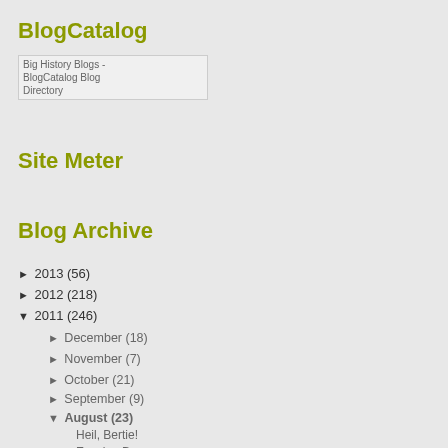BlogCatalog
[Figure (other): Big History Blogs - BlogCatalog Blog Directory badge/image]
Site Meter
Blog Archive
► 2013 (56)
► 2012 (218)
▼ 2011 (246)
► December (18)
► November (7)
► October (21)
► September (9)
▼ August (23)
Heil, Bertie!
Envying Dogs
The Witch Child
Foul Rose
We must be Free or Die…Really?
The War of Northern Greed